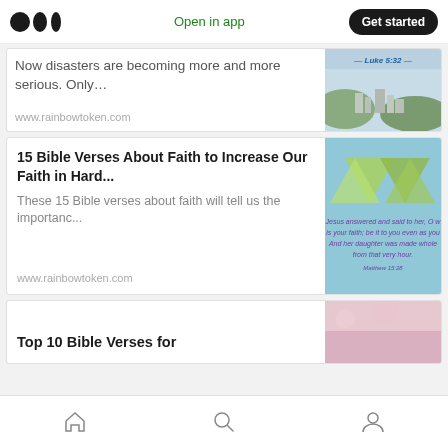Medium logo | Open in app | Get started
Now disasters are becoming more and more serious. Only…
www.rainbowtoken.com
15 Bible Verses About Faith to Increase Our Faith in Hard...
These 15 Bible verses about faith will tell us the importanc...
www.rainbowtoken.com
Top 10 Bible Verses for
Home | Search | Profile